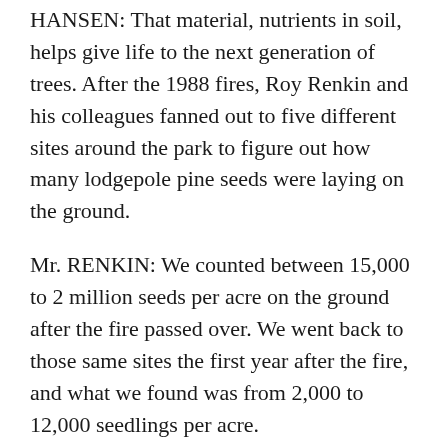HANSEN: That material, nutrients in soil, helps give life to the next generation of trees. After the 1988 fires, Roy Renkin and his colleagues fanned out to five different sites around the park to figure out how many lodgepole pine seeds were laying on the ground.
Mr. RENKIN: We counted between 15,000 to 2 million seeds per acre on the ground after the fire passed over. We went back to those same sites the first year after the fire, and what we found was from 2,000 to 12,000 seedlings per acre.
HANSEN: The forest definitely has grown back in those previously burned areas. Views out over the valleys show an abundance of green. And 95 percent of those trees germinated in the first year after the fire. There are a few areas where the lodgepole pines and other plant communities struggle to return.